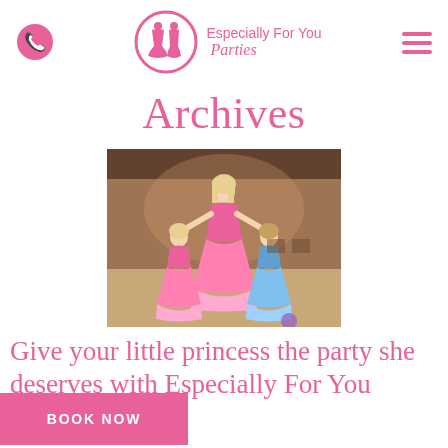Especially For You Parties
Archives
[Figure (photo): A woman dressed as a princess in pink stands with two young girls in princess dresses (pink and blue) in a hall with brick walls.]
Give your little princess the party she deserves with Especially For You Parties